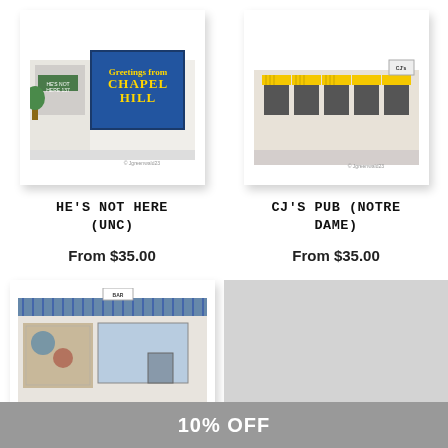[Figure (illustration): Framed watercolor illustration of He's Not Here bar (UNC) showing a storefront with a large postcard mural and a plant]
[Figure (illustration): Framed watercolor illustration of CJ's Pub (Notre Dame) showing a commercial building with yellow awnings]
HE'S NOT HERE (UNC)
From $35.00
CJ'S PUB (NOTRE DAME)
From $35.00
[Figure (illustration): Framed watercolor illustration of a bar/restaurant with blue striped awning and murals on the exterior]
[Figure (illustration): Light gray placeholder image for a product]
10% OFF